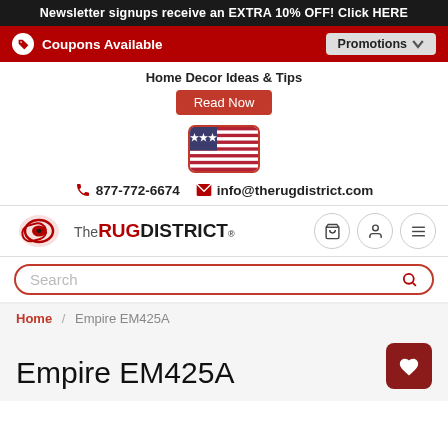Newsletter signups receive an EXTRA 10% OFF! Click HERE
Coupons Available   Promotions
Home Decor Ideas & Tips
Read Now
[Figure (illustration): US flag icon in red border rounded rectangle]
877-772-6674   info@therugdistrict.com
[Figure (logo): The Rug District logo with red rolled rug icon]
Search
Home / Empire EM425A
Empire EM425A